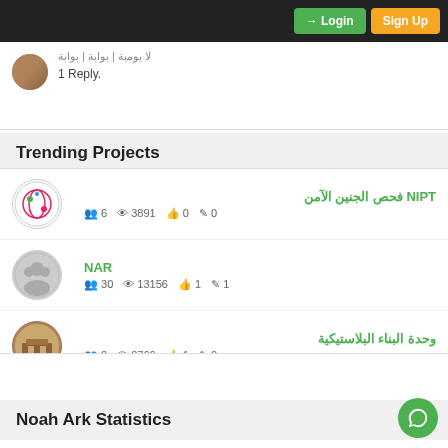Login  Sign Up
1 Reply.
Trending Projects
NIPT فحص الجنين الآمن
👥 6  👁 3891  👍 0  ✏ 0
NAR
👥 30  👁 13156  👍 1  ✏ 1
وحدة البناء البلاستيكية
👥 2  👁 2766  👍 1  ✏ 0
Noah Ark Statistics